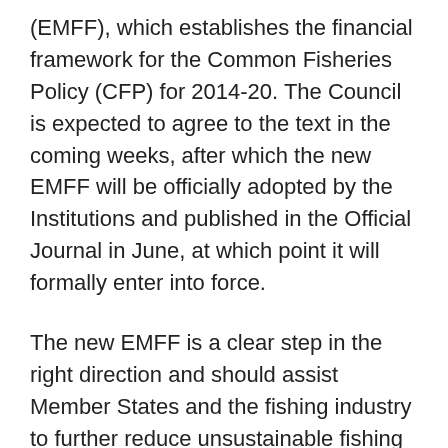(EMFF), which establishes the financial framework for the Common Fisheries Policy (CFP) for 2014-20. The Council is expected to agree to the text in the coming weeks, after which the new EMFF will be officially adopted by the Institutions and published in the Official Journal in June, at which point it will formally enter into force.
The new EMFF is a clear step in the right direction and should assist Member States and the fishing industry to further reduce unsustainable fishing practices.
It offers financial assistance for a variety of